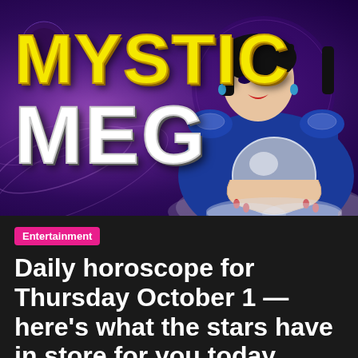[Figure (photo): Promotional image of Mystic Meg: a woman with black bob hair wearing a blue sequined jacket holding a crystal ball, set against a purple mystical swirling background. Large text overlay reads 'MYSTIC MEG' with MYSTIC in yellow and MEG in white.]
Entertainment
Daily horoscope for Thursday October 1 — here's what the stars have in store for you today